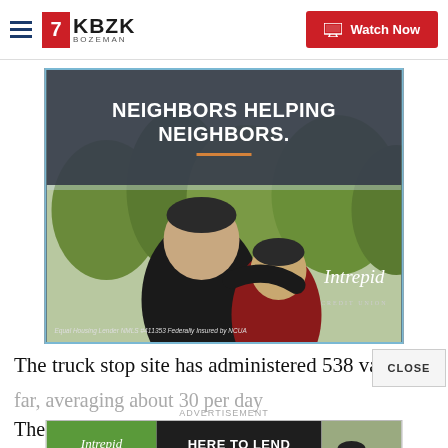KBZK BOZEMAN | Watch Now
[Figure (photo): Advertisement banner for Intrepid Credit Union showing two boys with arms around each other looking at trees, with text 'NEIGHBORS HELPING NEIGHBORS.' in dark overlay at top]
The truck stop site has administered 538 vaccines
far, averaging about 30 per day
[Figure (photo): Bottom advertisement for Intrepid Credit Union with text 'HERE TO LEND A HAND.' on dark background, green logo on left, photo of boys on right]